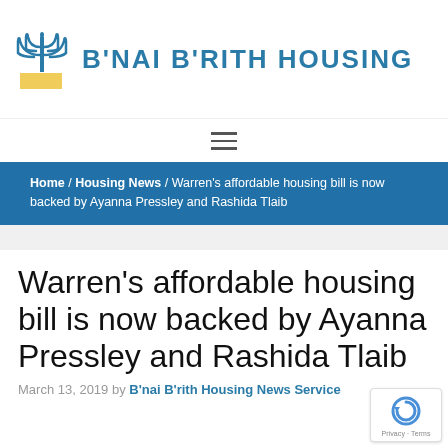[Figure (logo): B'nai B'rith Housing logo — menorah icon and text]
B'NAI B'RITH HOUSING
≡
Home / Housing News / Warren's affordable housing bill is now backed by Ayanna Pressley and Rashida Tlaib
Warren's affordable housing bill is now backed by Ayanna Pressley and Rashida Tlaib
March 13, 2019 by B'nai B'rith Housing News Service